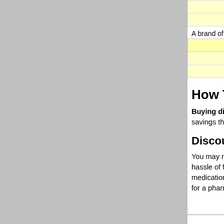| Medication | Strength | Quantity |
| --- | --- | --- |
| Telmisartan | 60 mg | 98 tablets |
| Telmisartan | 80 mg | 98 tablets |
A brand of Telmisartanum labelled as Telmisartan is at Do...
| Medication | Strength | Quantity |
| --- | --- | --- |
| Telmisartan | 40 mg | 98 tablets |
| Telmisartan | 80 mg | 98 tablets |
How To Buy Telmisartanum Online
Buying discount Telmisartanum (Telmisartan...) convenient. You can obtain quality prescription ... savings through some of the listed pharmacies. Telmisartanum Online to see the latest pricing a...
Discount Telmisartanum - No Prescri...
You may not need to send your prescription whe... online from an international pharmacy. This save... hassle of faxing your prescription, or paying to h... pharmacies have their own physicians who will i... medication. Some international pharmacies may... prescription from US residents. Please verify yo... ability for a pharmacy to offer a medication witho... supersede any local requirement you may have...